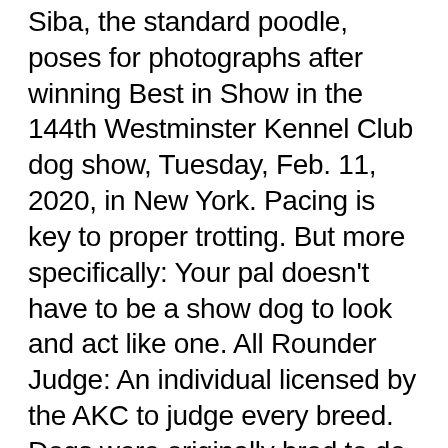Siba, the standard poodle, poses for photographs after winning Best in Show in the 144th Westminster Kennel Club dog show, Tuesday, Feb. 11, 2020, in New York. Pacing is key to proper trotting. But more specifically: Your pal doesn't have to be a show dog to look and act like one. All Rounder Judge: An individual licensed by the AKC to judge every breed. Dogs were originally bred to do specific jobs whether hunting, guarding, tracking, or companionship. Below, Livingston shares his tips for helping your furry friend achieve best in its own show. While grooming standards vary greatly by breed, all show dogs are brushed and bathed weekly. Pacing is key to proper trotting. With her stylish standard poodle locks, Siba won the best in show award at the Westminster Kennel Club Dog Show Tuesday night. Best of Opposite Sex (BOS): the best of the dogs that are the opposite sex to the BOB dog. The spe...